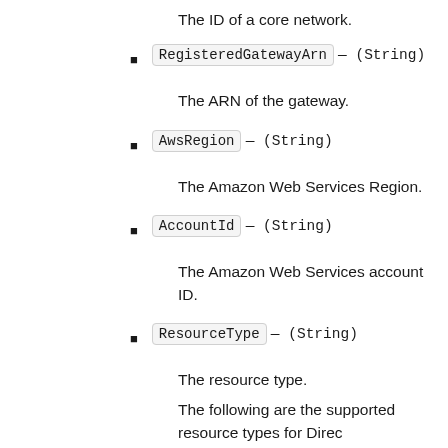The ID of a core network.
RegisteredGatewayArn — (String)
The ARN of the gateway.
AwsRegion — (String)
The Amazon Web Services Region.
AccountId — (String)
The Amazon Web Services account ID.
ResourceType — (String)
The resource type.
The following are the supported resource types for Direc
dxcon
dx-gateway
dx-vif